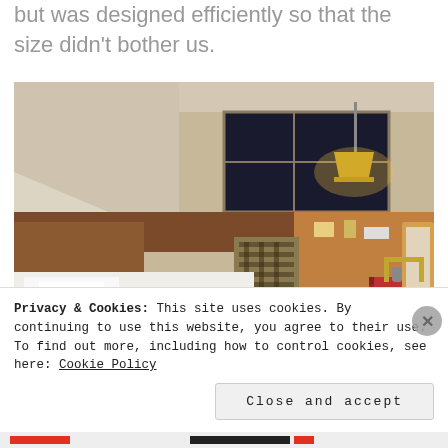but was designed efficiently so that the size didn't bother us.
[Figure (photo): Hotel room interior showing a large white bed, plaid chairs, wooden desk area, window with night view, hanging lamp, and red luggage near the right wall.]
Privacy & Cookies: This site uses cookies. By continuing to use this website, you agree to their use.
To find out more, including how to control cookies, see here: Cookie Policy
Close and accept